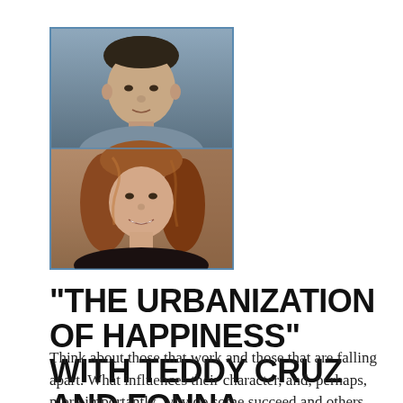[Figure (photo): Composite photo showing two headshots stacked vertically: top half shows a man with dark hair wearing a grey shirt, bottom half shows a woman with auburn/red hair smiling, enclosed in a blue-bordered frame]
“THE URBANIZATION OF HAPPINESS” WITH TEDDY CRUZ AND FONNA FORMAN
Think about those that work and those that are falling apart. What influences their character, and, perhaps, more importantly, why do some succeed and others fail? On today’s episode of